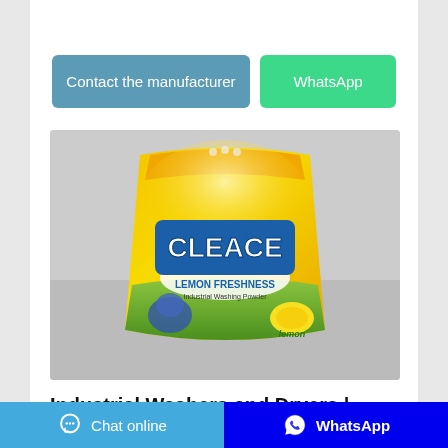[Figure (other): Button: Contact the manufacturer (blue/teal rounded rectangle)]
[Figure (other): Button: WhatsApp (green rounded rectangle)]
[Figure (photo): Product photo of CLEACE Lemon Freshness washing powder bag, yellow and green packaging with white powder visible, on a grey background]
Industrial Washers and Dryers | On-Premises Laundry Equipment
To achieve maximum throughput, you need maximum performance. Our full line of heavy-duty
[Figure (other): Bottom bar: Chat online button (blue) and WhatsApp button (dark blue)]